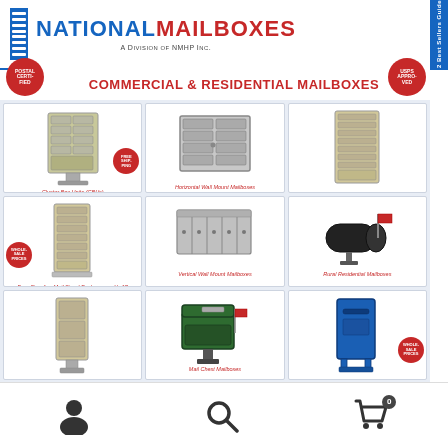[Figure (logo): National Mailboxes logo with blue box graphic, 'NATIONAL' in blue and 'MAILBOXES' in red, subtitle 'A Division of NMHP Inc.']
2 Best Sellers Guide
Commercial & Residential Mailboxes
[Figure (photo): Cluster Box Units (CBUs) - pedestal mounted multi-unit mailbox, sandstone color, with FREE SHIPPING badge]
[Figure (photo): Horizontal Wall Mount Mailboxes - large wall-mounted aluminum multi-unit mailbox]
[Figure (photo): 4C Series Horizontal Wall Mount Mailboxes - tall sandstone colored wall-mount multi-unit mailbox]
[Figure (photo): Free Standing Mail Stand Enclosures with 4C Horizontal Mailboxes - tall sandstone floor-standing enclosure, WHOLESALE PRICES badge]
[Figure (photo): Vertical Wall Mount Mailboxes - stainless steel horizontal row of mailboxes]
[Figure (photo): Rural Residential Mailboxes - classic black arched rural mailbox with red flag]
[Figure (photo): Parcel Lockers - tall sandstone colored pedestal parcel locker unit]
[Figure (photo): Mail Chest Mailboxes - dark green large chest-style residential mailbox with red flag]
[Figure (photo): Carrier Collection Boxes - blue tall heavy-duty collection box, WHOLESALE PRICES badge]
Cluster Box Units (CBUs)
Horizontal Wall Mount Mailboxes
4C Series Horizontal Wall Mount Mailboxes
Free Standing Mail Stand Enclosures with 4C Horizontal Mailboxes
Vertical Wall Mount Mailboxes
Rural Residential Mailboxes
Parcel Lockers
Mail Chest Mailboxes
Carrier Collection Boxes